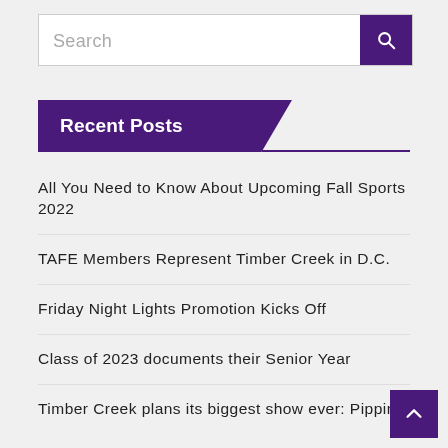[Figure (screenshot): Search bar with text input and purple search button with magnifying glass icon]
Recent Posts
All You Need to Know About Upcoming Fall Sports 2022
TAFE Members Represent Timber Creek in D.C.
Friday Night Lights Promotion Kicks Off
Class of 2023 documents their Senior Year
Timber Creek plans its biggest show ever: Pippin